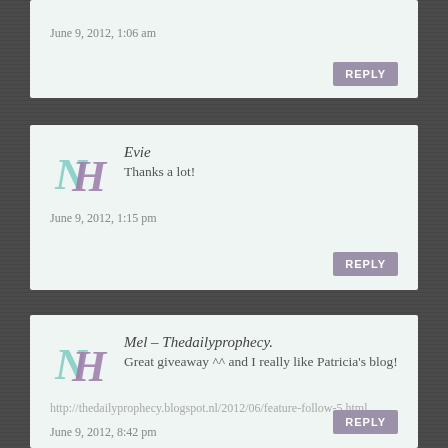June 9, 2012, 1:06 am
Evie
Thanks a lot!
June 9, 2012, 1:15 pm
Mel – Thedailyprophecy.
Great giveaway ^^ and I really like Patricia's blog!
http://thedailyprophecy.blogspot.nl/2012/06/feature-follow-5.html
June 9, 2012, 8:42 pm